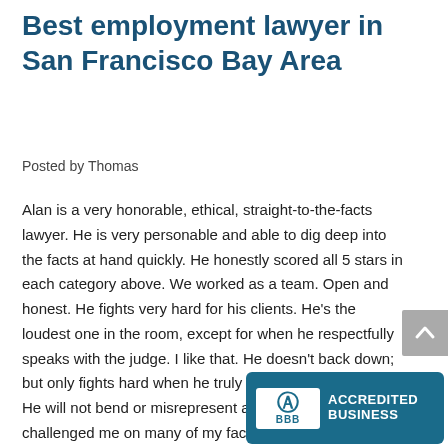Best employment lawyer in San Francisco Bay Area
Posted by Thomas
Alan is a very honorable, ethical, straight-to-the-facts lawyer. He is very personable and able to dig deep into the facts at hand quickly. He honestly scored all 5 stars in each category above. We worked as a team. Open and honest. He fights very hard for his clients. He's the loudest one in the room, except for when he respectfully speaks with the judge. I like that. He doesn't back down; but only fights hard when he truly believes in something. He will not bend or misrepresent any facts and has challenged me on many of my facts. I appreciate that. Th... this is what a great lawyer is made of...
[Figure (logo): BBB Accredited Business badge with blue background, white BBB logo, and text ACCREDITED BUSINESS]